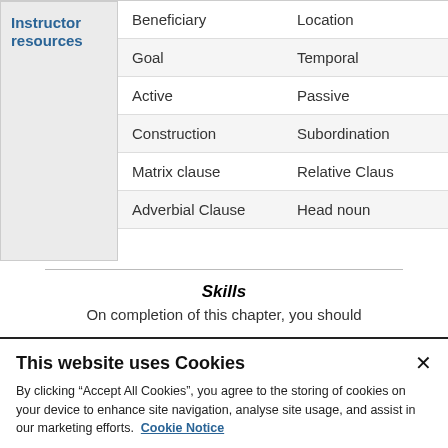| Theme | Experiencer |
| --- | --- |
| Beneficiary | Location |
| Goal | Temporal |
| Active | Passive |
| Construction | Subordination |
| Matrix clause | Relative Clause |
| Adverbial Clause | Head noun |
Skills
On completion of this chapter, you should
This website uses Cookies
By clicking "Accept All Cookies", you agree to the storing of cookies on your device to enhance site navigation, analyse site usage, and assist in our marketing efforts. Cookie Notice